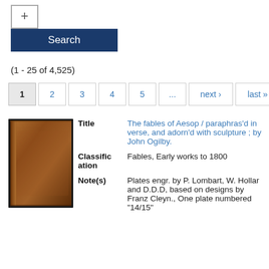[Figure (screenshot): Search interface with plus button and Search button]
(1 - 25 of 4,525)
[Figure (screenshot): Pagination controls: 1 (active), 2, 3, 4, 5, ..., next›, last»]
[Figure (photo): Brown leather book cover thumbnail]
Title	The fables of Aesop / paraphras'd in verse, and adorn'd with sculpture ; by John Ogilby.
Classification	Fables, Early works to 1800
Note(s)	Plates engr. by P. Lombart, W. Hollar and D.D.D, based on designs by Franz Cleyn., One plate numbered "14/15"